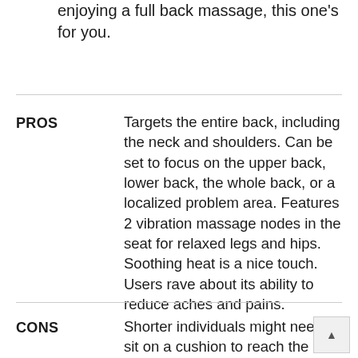idea of simply sitting down and enjoying a full back massage, this one's for you.
PROS
Targets the entire back, including the neck and shoulders. Can be set to focus on the upper back, lower back, the whole back, or a localized problem area. Features 2 vibration massage nodes in the seat for relaxed legs and hips. Soothing heat is a nice touch. Users rave about its ability to reduce aches and pains.
CONS
Shorter individuals might need to sit on a cushion to reach the neck and shoulder portion. Expensiv